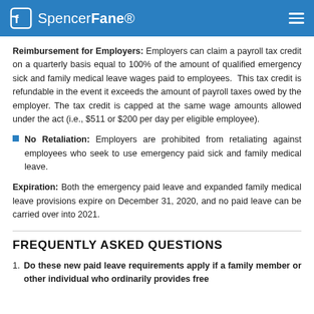SpencerFane
Reimbursement for Employers: Employers can claim a payroll tax credit on a quarterly basis equal to 100% of the amount of qualified emergency sick and family medical leave wages paid to employees. This tax credit is refundable in the event it exceeds the amount of payroll taxes owed by the employer. The tax credit is capped at the same wage amounts allowed under the act (i.e., $511 or $200 per day per eligible employee).
No Retaliation: Employers are prohibited from retaliating against employees who seek to use emergency paid sick and family medical leave.
Expiration: Both the emergency paid leave and expanded family medical leave provisions expire on December 31, 2020, and no paid leave can be carried over into 2021.
FREQUENTLY ASKED QUESTIONS
Do these new paid leave requirements apply if a family member or other individual who ordinarily provides free